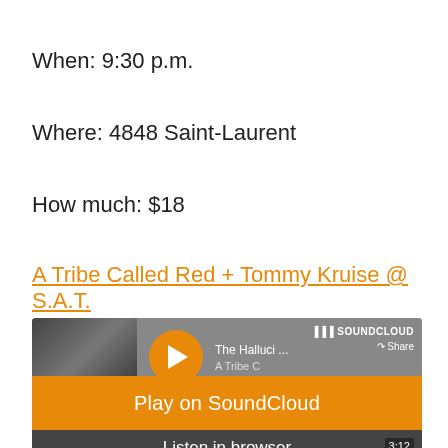When: 9:30 p.m.
Where: 4848 Saint-Laurent
How much: $18
A Tribe Called Red + Tommy Kruise @ S.A.T.
[Figure (screenshot): SoundCloud embedded music player widget showing 'The Halluci... A Tribe C' track with play button, Play on SoundCloud banner, Listen in browser bar, waveform, duration 3:12, 345K plays, Privacy policy link]